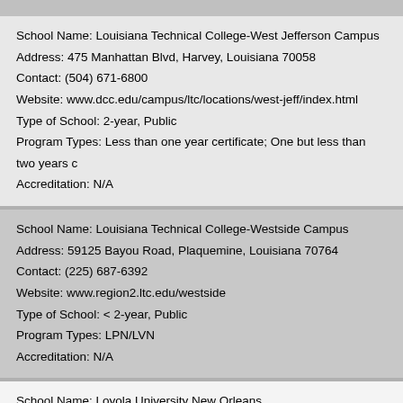School Name: Louisiana Technical College-West Jefferson Campus
Address: 475 Manhattan Blvd, Harvey, Louisiana 70058
Contact: (504) 671-6800
Website: www.dcc.edu/campus/ltc/locations/west-jeff/index.html
Type of School: 2-year, Public
Program Types: Less than one year certificate; One but less than two years c
Accreditation: N/A
School Name: Louisiana Technical College-Westside Campus
Address: 59125 Bayou Road, Plaquemine, Louisiana 70764
Contact: (225) 687-6392
Website: www.region2.ltc.edu/westside
Type of School: < 2-year, Public
Program Types: LPN/LVN
Accreditation: N/A
School Name: Loyola University New Orleans
Address: 6363 Saint Charles Ave, New Orleans, Louisiana 70118-6143
Contact: (504) 865-2011
Website: ...